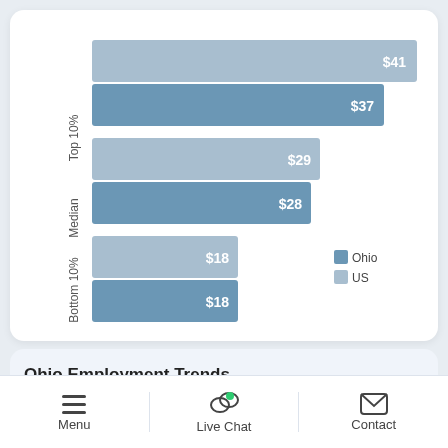[Figure (grouped-bar-chart): Hourly wage comparison by percentile]
Ohio Employment Trends
Menu | Live Chat | Contact